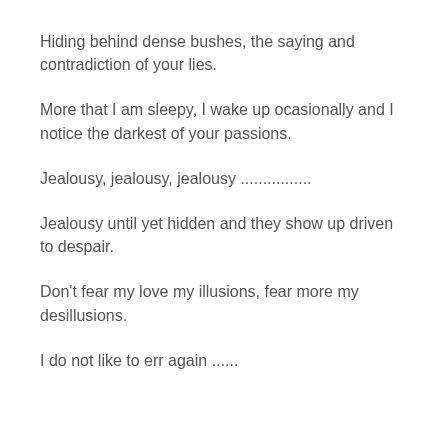Hiding behind dense bushes, the saying and contradiction of your lies.
More that I am sleepy, I wake up ocasionally and I notice the darkest of your passions.
Jealousy, jealousy, jealousy ................
Jealousy until yet hidden and they show up driven to despair.
Don't fear my love my illusions, fear more my desillusions.
I do not like to err again ......